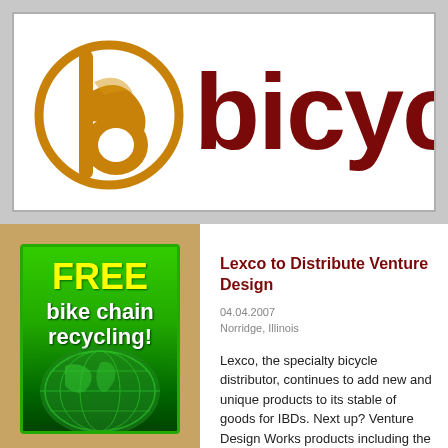[Figure (logo): Bicycle Retailer logo: orange circle with stylized 'b' letter, followed by dark red bold text reading 'bicycle']
[Figure (illustration): Advertisement: green gradient box with yellow bold text 'FREE bike chain recycling!' and a green globe illustration at the bottom]
Lexco to Distribute Venture Design
04.04.2007
Norridge, Illinois
Lexco, the specialty bicycle distributor, continues to add new and unique products to its stable of goods for IBDs. Next up? Venture Design Works products including the Gel-Bot Bike Bottle, Gel-Bot Running Bottle, Press-Bot and Freehand.